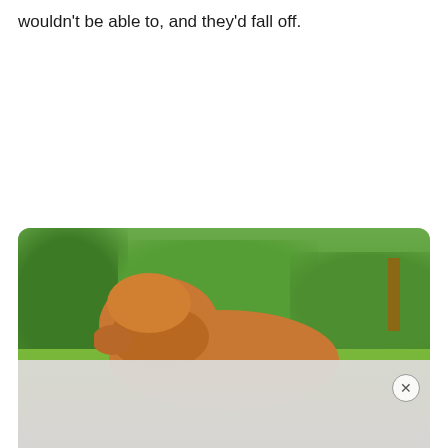wouldn't be able to, and they'd fall off.
[Figure (photo): A dog photographed outdoors against a green leafy background. The upper portion shows a brown/reddish dog's head and back, while the lower portion is partially obscured by a light gray/cream advertisement overlay with a close (×) button in the bottom-right corner.]